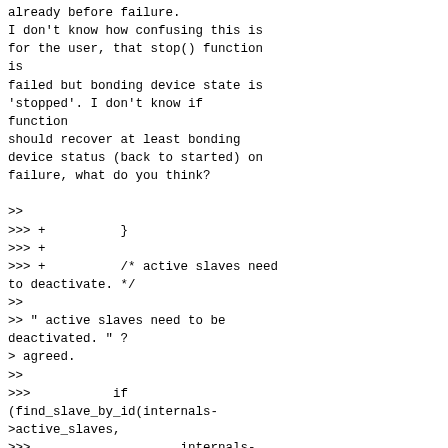already before failure.
I don't know how confusing this is
for the user, that stop() function
is
failed but bonding device state is
'stopped'. I don't know if
function
should recover at least bonding
device status (back to started) on
failure, what do you think?

>>
>>> +          }
>>> +
>>> +          /* active slaves need
to deactivate. */
>>
>> " active slaves need to be
deactivated. " ?
> agreed.
>>
>>>           if
(find_slave_by_id(internals-
>active_slaves,
>>>                    internals-
>active_slave_count, slave_id) !=
>>> -
internals->active_slave_count) {
>>> -           internals-
>slaves[i].last_link_status = 0;
>>>             ret =